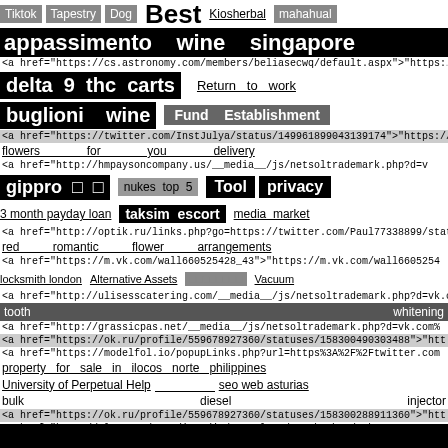Tiktok   Tapestry   Dog   Best   Kiosherbal   mahahual
appassimento   wine   singapore
<a href="https://cs.astronomy.com/members/beliasecwq/default.aspx">"https:
delta   9   thc   carts   Return   to   work
buglioni   wine   Fund   Establishment
<a href="https://twitter.com/InstJulya/status/149961899043139174">"https://
flowers   for   you   delivery
<a href="http://hmpaysoncompany.us/__media__/js/netsoltrademark.php?d=v
gippro □ □   nukes top 5   Tool   privacy
3 month payday loan   taksim escort   media market
<a href="http://optik.ru/links.php?go=https://twitter.com/Paul77338899/status/
red   romantic   flower   arrangements
<a href="https://m.vk.com/wall660525428_43">"https://m.vk.com/wall6605254
locksmith london   Alternative Assets   □□□□□□□□   Vacuum
<a href="http://ulisesscatering.com/__media__/js/netsoltrademark.php?d=vk.c
tooth   whitening
<a href="http://grassicpas.net/__media__/js/netsoltrademark.php?d=vk.com%
<a href="https://ok.ru/profile/559678927360/statuses/158300490303488">"htt
<a href="https://modelfol.io/popupLinks.php?url=https%3A%2F%2Ftwitter.com
property   for   sale   in   ilocos   norte   philippines
University of Perpetual Help   ______   seo web asturias
bulk   diesel   injector
<a href="https://ok.ru/profile/559678927360/statuses/158300288911360">"htt
<a href="http://ulnx.com/__media__/js/netsoltrademark.php?d=vk.com%2Fwa
Downers Grove IL 60517 local SEO   laweta Praga